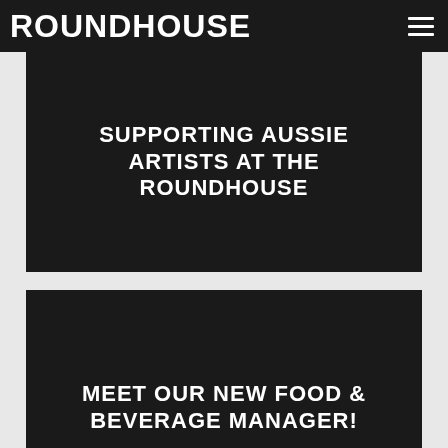ROUNDHOUSE
SUPPORTING AUSSIE ARTISTS AT THE ROUNDHOUSE
MEET OUR NEW FOOD & BEVERAGE MANAGER!